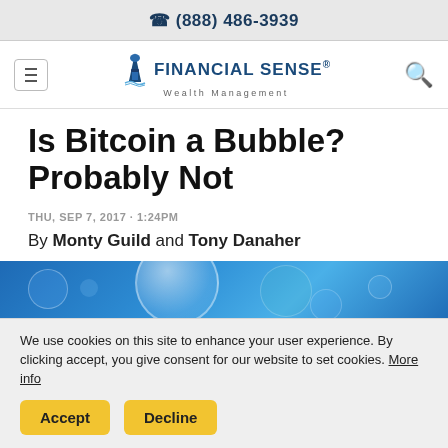(888) 486-3939
[Figure (logo): Financial Sense Wealth Management logo with lighthouse icon]
Is Bitcoin a Bubble? Probably Not
THU, SEP 7, 2017 · 1:24PM
By Monty Guild and Tony Danaher
[Figure (photo): Blue bokeh background with a translucent soap bubble in the center]
We use cookies on this site to enhance your user experience. By clicking accept, you give consent for our website to set cookies. More info